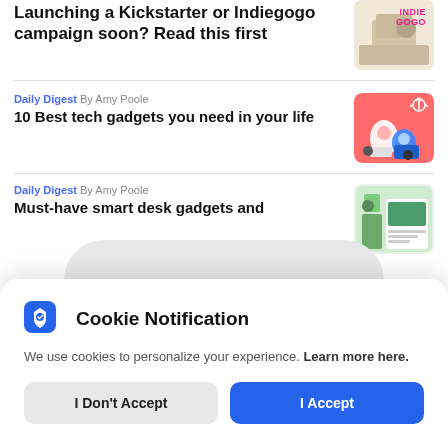Launching a Kickstarter or Indiegogo campaign soon? Read this first
Daily Digest  By Amy Poole
10 Best tech gadgets you need in your life
Daily Digest  By Amy Poole
Must-have smart desk gadgets and
Cookie Notification
We use cookies to personalize your experience. Learn more here.
I Don't Accept | I Accept